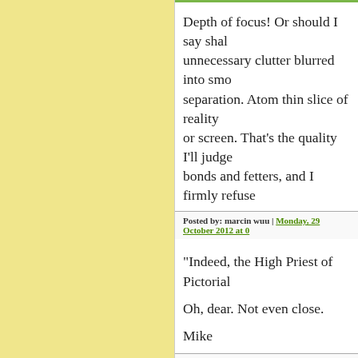Depth of focus! Or should I say shal... unnecessary clutter blurred into smo... separation. Atom thin slice of reality... or screen. That's the quality I'll judge... bonds and fetters, and I firmly refuse...
Posted by: marcin wuu | Monday, 29 October 2012 at ...
"Indeed, the High Priest of Pictorial ...
Oh, dear. Not even close.
Mike
Posted by: Mike Johnston | Monday, 29 October 2012 ...
"My theory is that photographers ter...
I don't agree with that.